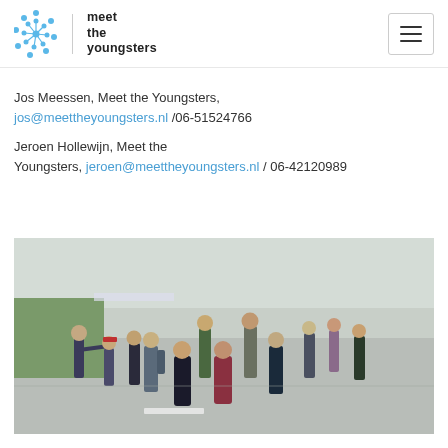meet the youngsters
Jos Meessen, Meet the Youngsters, jos@meettheyoungsters.nl /06-51524766
Jeroen Hollewijn, Meet the Youngsters, jeroen@meettheyoungsters.nl / 06-42120989
[Figure (photo): Group of young people standing in a semicircle outdoors on a road/path, with one person gesturing to the group, viewed from slightly above.]